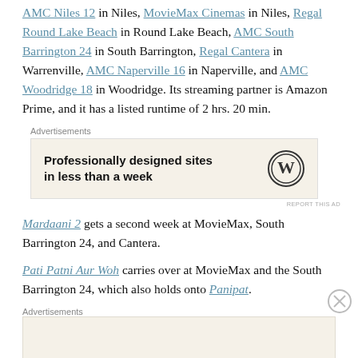AMC Niles 12 in Niles, MovieMax Cinemas in Niles, Regal Round Lake Beach in Round Lake Beach, AMC South Barrington 24 in South Barrington, Regal Cantera in Warrenville, AMC Naperville 16 in Naperville, and AMC Woodridge 18 in Woodridge. Its streaming partner is Amazon Prime, and it has a listed runtime of 2 hrs. 20 min.
[Figure (other): WordPress advertisement banner: 'Professionally designed sites in less than a week' with WordPress logo]
Mardaani 2 gets a second week at MovieMax, South Barrington 24, and Cantera.
Pati Patni Aur Woh carries over at MovieMax and the South Barrington 24, which also holds onto Panipat.
[Figure (other): Advertisements label at bottom of page]